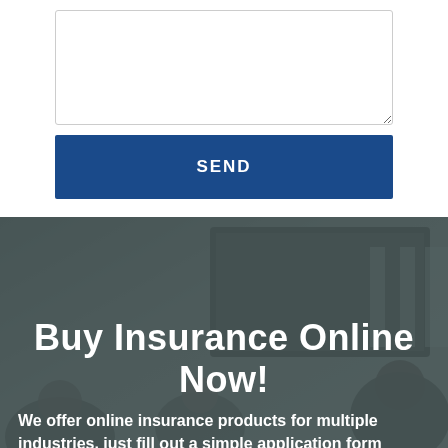[Figure (screenshot): A textarea input box with a border and resize handle in the bottom-right corner]
SEND
[Figure (photo): A dark-tinted photo of people in a meeting room with a large TV screen on the wall and windows in the background]
Buy Insurance Online Now!
We offer online insurance products for multiple industries, just fill out a simple application form